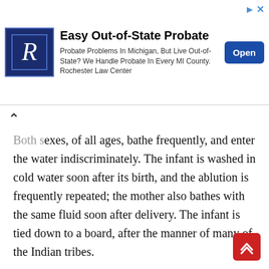[Figure (screenshot): Advertisement banner for Rochester Law Center: 'Easy Out-of-State Probate' with logo, description text, and Open button]
Both sexes, of all ages, bathe frequently, and enter the water indiscriminately. The infant is washed in cold water soon after its birth, and the ablution is frequently repeated; the mother also bathes with the same fluid soon after delivery. The infant is tied down to a board, after the manner of many of the Indian tribes.
The chastity of the young females is guarded by the mother with the most scrupulous watchfulness, and a violation of it is a rare occurrence, as it renders the individual unfit for the wife of a chief, a brave warrior, or good hunter. To wed her